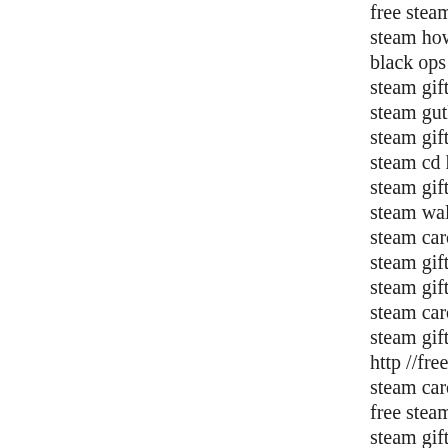free steam codes ma...
steam how to redeem...
black ops 2 steam co...
steam gift card 100 ...
steam guthaben cod...
steam gift card 20 e...
steam cd key to gift...
steam gift card at wa...
steam wallet card co...
steam card 10 euro 4...
steam gift card mark...
steam gift card onlin...
steam card 5 dollar
steam gift card onlin...
http //free-steam-ca...
steam card generato...
free steam card redd...
steam gift card toys ...
steam gift card free
steam gift card how...
steam gift card hack...
steam gift card 10...